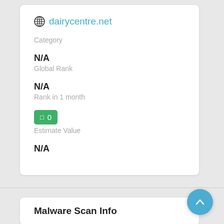dairycentre.net
Category
N/A
Global Rank
N/A
Rank in 1 month
□ 0
Estimate Value
N/A
Malware Scan Info